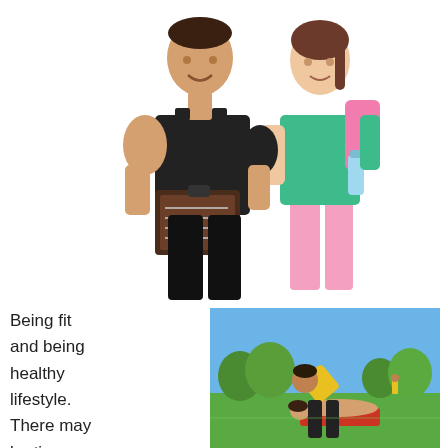[Figure (photo): A male personal trainer in a black tank top holding a clipboard, showing it to a female in a green top and pink leggings holding a pink towel and a water bottle. White background.]
Being fit and being healthy lifestyle. There may be times
[Figure (photo): Outdoor sports field scene: a person in a yellow shirt bending over, a person lying on a red mat on grass, trees and blue sky in the background.]